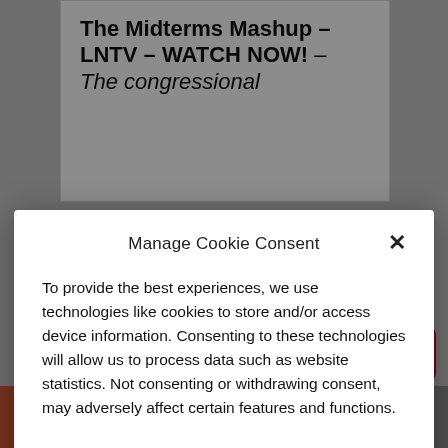The Midterms Mashup – LNTV – WATCH NOW! – The congressional
Manage Cookie Consent
To provide the best experiences, we use technologies like cookies to store and/or access device information. Consenting to these technologies will allow us to process data such as website statistics. Not consenting or withdrawing consent, may adversely affect certain features and functions.
Accept
Cookie Policy  Privacy Policy
← Previous
Next →